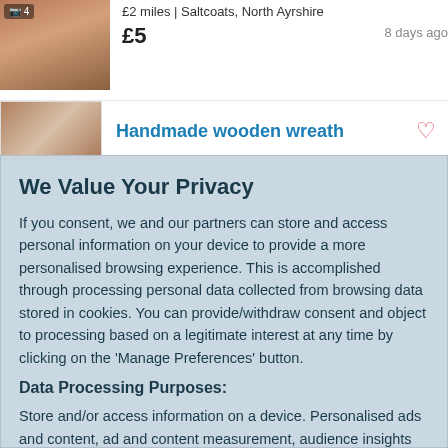£2 miles | Saltcoats, North Ayrshire
£5   8 days ago
Handmade wooden wreath
We Value Your Privacy
If you consent, we and our partners can store and access personal information on your device to provide a more personalised browsing experience. This is accomplished through processing personal data collected from browsing data stored in cookies. You can provide/withdraw consent and object to processing based on a legitimate interest at any time by clicking on the 'Manage Preferences' button.
Data Processing Purposes:
Store and/or access information on a device. Personalised ads and content, ad and content measurement, audience insights and product development.
List of Partners (vendors)
Accept
Manage your privacy settings